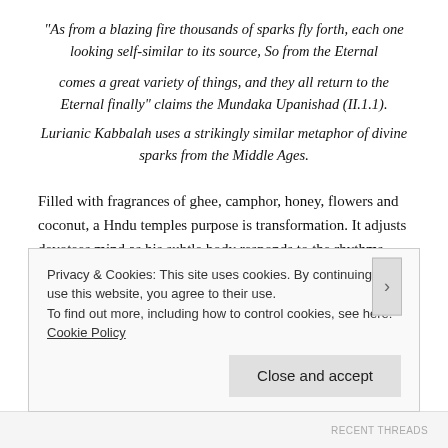“As from a blazing fire thousands of sparks fly forth, each one looking self-similar to its source, So from the Eternal comes a great variety of things, and they all return to the Eternal finally” claims the Mundaka Upanishad (II.1.1). Lurianic Kabbalah uses a strikingly similar metaphor of divine sparks from the Middle Ages.
Filled with fragrances of ghee, camphor, honey, flowers and coconut, a Hndu temples purpose is transformation. It adjusts devotees mind as his subtle body responds to the rhythms, aesthetics and emotions of the temple; to become one with the
Privacy & Cookies: This site uses cookies. By continuing to use this website, you agree to their use.
To find out more, including how to control cookies, see here: Cookie Policy
Close and accept
RECENT THREADS